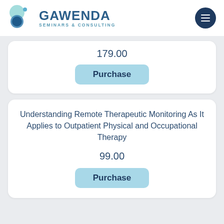[Figure (logo): Gawenda Seminars & Consulting logo with circular teal/blue graphic and text]
179.00
Purchase
Understanding Remote Therapeutic Monitoring As It Applies to Outpatient Physical and Occupational Therapy
99.00
Purchase